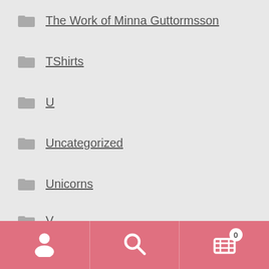The Work of Minna Guttormsson
TShirts
U
Uncategorized
Unicorns
V
W
Wall Mounted
X
Y
Z